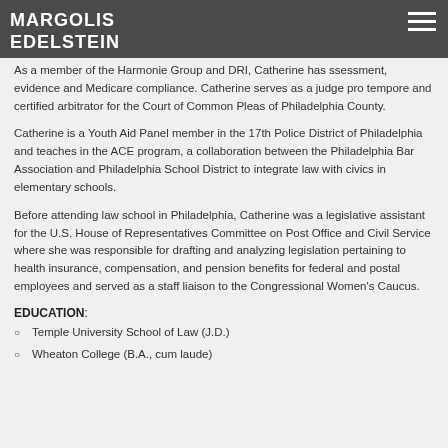MARGOLIS EDELSTEIN
As a member of the Harmonie Group and DRI, Catherine has ssessment, evidence and Medicare compliance. Catherine serves as a judge pro tempore and certified arbitrator for the Court of Common Pleas of Philadelphia County.
Catherine is a Youth Aid Panel member in the 17th Police District of Philadelphia and teaches in the ACE program, a collaboration between the Philadelphia Bar Association and Philadelphia School District to integrate law with civics in elementary schools.
Before attending law school in Philadelphia, Catherine was a legislative assistant for the U.S. House of Representatives Committee on Post Office and Civil Service where she was responsible for drafting and analyzing legislation pertaining to health insurance, compensation, and pension benefits for federal and postal employees and served as a staff liaison to the Congressional Women's Caucus.
EDUCATION:
Temple University School of Law (J.D.)
Wheaton College (B.A., cum laude)